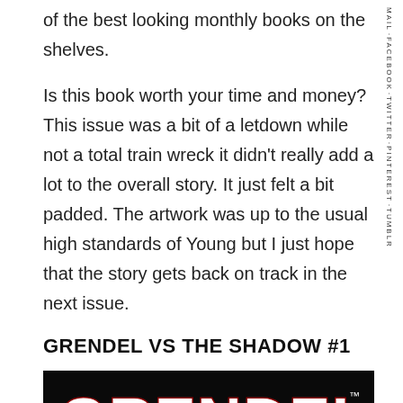of the best looking monthly books on the shelves.
Is this book worth your time and money? This issue was a bit of a letdown while not a total train wreck it didn't really add a lot to the overall story. It just felt a bit padded. The artwork was up to the usual high standards of Young but I just hope that the story gets back on track in the next issue.
GRENDEL VS THE SHADOW #1
[Figure (illustration): Comic book cover logo for Grendel vs The Shadow showing large white GRENDEL text on black background with red and orange shadow script text below]